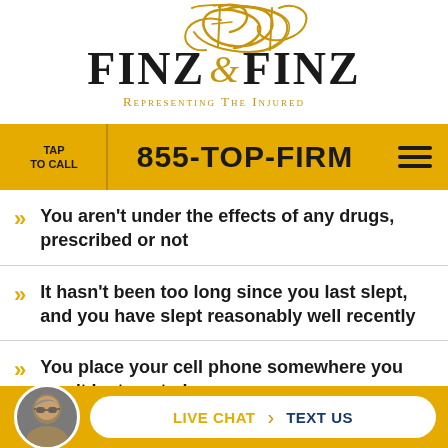[Figure (logo): Finz & Finz law firm logo with gold script flourish and tagline 'Representing The Injured']
TAP TO CALL | 855-TOP-FIRM
You aren't under the effects of any drugs, prescribed or not
It hasn't been too long since you last slept, and you have slept reasonably well recently
You place your cell phone somewhere you won't be tempted
LIVE CHAT | TEXT US